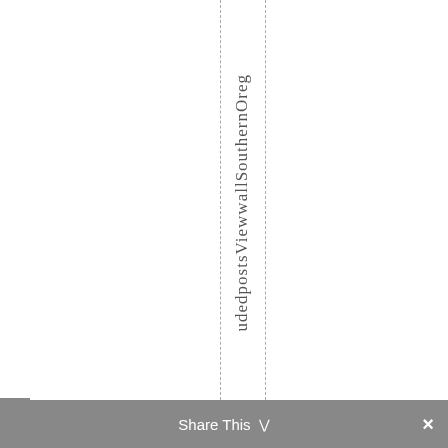udedpostsViewwall Southern Oregon
Share This ∨  ×